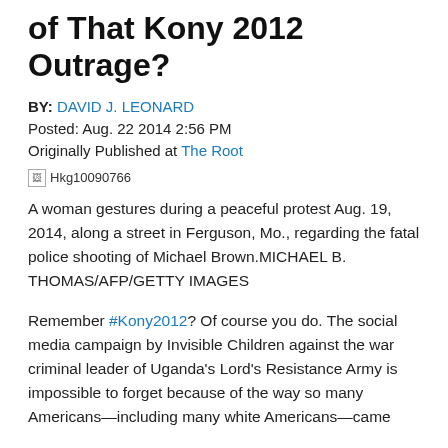of That Kony 2012 Outrage?
BY: DAVID J. LEONARD
Posted: Aug. 22 2014 2:56 PM
Originally Published at The Root
[Figure (photo): Broken image placeholder showing 'Hkg10090766']
A woman gestures during a peaceful protest Aug. 19, 2014, along a street in Ferguson, Mo., regarding the fatal police shooting of Michael Brown.MICHAEL B. THOMAS/AFP/GETTY IMAGES
Remember #Kony2012? Of course you do. The social media campaign by Invisible Children against the war criminal leader of Uganda's Lord's Resistance Army is impossible to forget because of the way so many Americans—including many white Americans—came